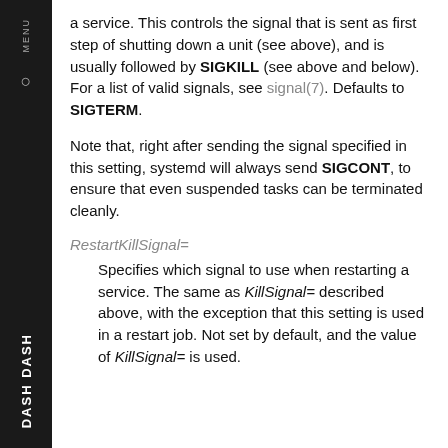a service. This controls the signal that is sent as first step of shutting down a unit (see above), and is usually followed by SIGKILL (see above and below). For a list of valid signals, see signal(7). Defaults to SIGTERM.
Note that, right after sending the signal specified in this setting, systemd will always send SIGCONT, to ensure that even suspended tasks can be terminated cleanly.
RestartKillSignal=
Specifies which signal to use when restarting a service. The same as KillSignal= described above, with the exception that this setting is used in a restart job. Not set by default, and the value of KillSignal= is used.